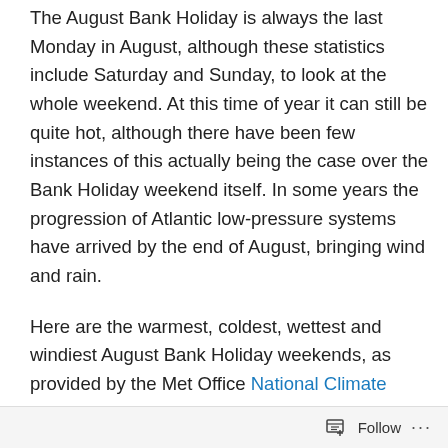The August Bank Holiday is always the last Monday in August, although these statistics include Saturday and Sunday, to look at the whole weekend. At this time of year it can still be quite hot, although there have been few instances of this actually being the case over the Bank Holiday weekend itself. In some years the progression of Atlantic low-pressure systems have arrived by the end of August, bringing wind and rain.
Here are the warmest, coldest, wettest and windiest August Bank Holiday weekends, as provided by the Met Office National Climate Information Centre.
Warmest
Temperatures reached 31.6 °C at London Weather Centre
Follow ···